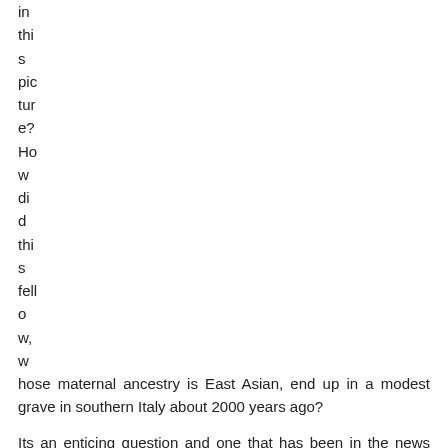in
thi
s
pic
tur
e?
Ho
w
di
d
thi
s
fell
o
w,
w
hose maternal ancestry is East Asian, end up in a modest grave in southern Italy about 2000 years ago?
Its an enticing question and one that has been in the news ever since Heritage Key announced the story of this mans discovery.
Just a quick recap; a team of scientists based at McMaster University in Hamilton Canada have found that this man, buried in a Roman cemetery at Vagnari in southern Italy is of East Asian...